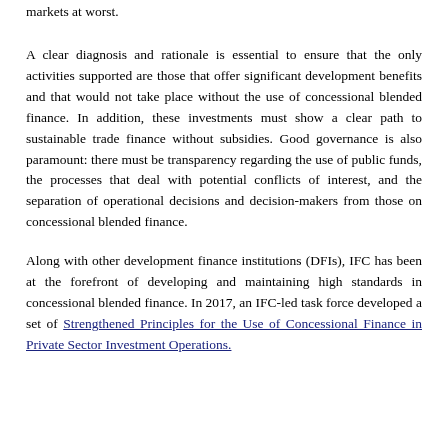markets at worst.
A clear diagnosis and rationale is essential to ensure that the only activities supported are those that offer significant development benefits and that would not take place without the use of concessional blended finance. In addition, these investments must show a clear path to sustainable trade finance without subsidies. Good governance is also paramount: there must be transparency regarding the use of public funds, the processes that deal with potential conflicts of interest, and the separation of operational decisions and decision-makers from those on concessional blended finance.
Along with other development finance institutions (DFIs), IFC has been at the forefront of developing and maintaining high standards in concessional blended finance. In 2017, an IFC-led task force developed a set of Strengthened Principles for the Use of Concessional Finance in Private Sector Investment Operations.